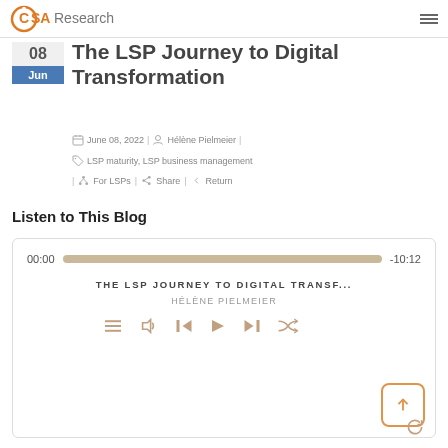CSA Research
The LSP Journey to Digital Transformation
June 08, 2022 | Hélène Pielmeier
LSP maturity, LSP business management
| For LSPs | Share | Return
Listen to This Blog
[Figure (other): Audio player widget showing 00:00 start time, -10:12 remaining, track title THE LSP JOURNEY TO DIGITAL TRANSF..., artist HÉLÈNE PIELMEIER, with playback controls]